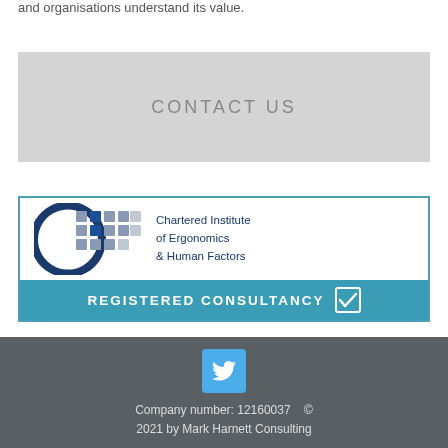and organisations understand its value.
[Figure (other): CONTACT US button — a light grey rectangular button with the text CONTACT US in grey uppercase letters]
[Figure (logo): Chartered Institute of Ergonomics & Human Factors — Registered Consultancy logo with a C-shaped graphic made of blue and grey squares, text on the right, and a teal/blue banner at the bottom reading REGISTERED CONSULTANCY with a checkbox tick]
Twitter icon (blue square with white bird). Company number: 12160037   © 2021 by Mark Harnett Consulting